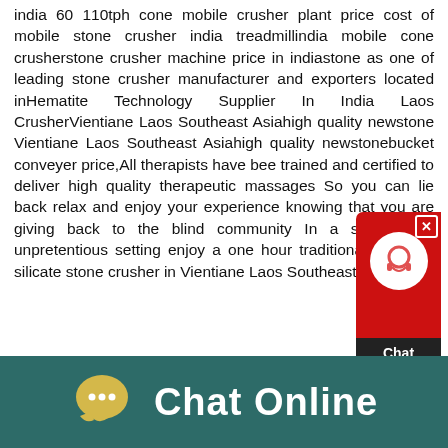india 60 110tph cone mobile crusher plant price cost of mobile stone crusher india treadmillindia mobile cone crusherstone crusher machine price in indiastone as one of leading stone crusher manufacturer and exporters located inHematite Technology Supplier In India Laos CrusherVientiane Laos Southeast Asiahigh quality newstone Vientiane Laos Southeast Asiahigh quality newstonebucket conveyer price,All therapists have been trained and certified to deliver high quality therapeutic massages So you can lie back relax and enjoy your experience knowing that you are giving back to the blind community In a simple and unpretentious setting enjoy a one hour traditional Laolarge silicate stone crusher in Vientiane Laos Southeast
[Figure (screenshot): Chat widget popup with red background, white circular icon with headset/support symbol, and Chat Now text in white]
[Figure (photo): Partial photo strip showing industrial or indoor scene]
[Figure (infographic): Chat Online bar with yellow speech bubble icon and white Chat Online text on dark teal background]